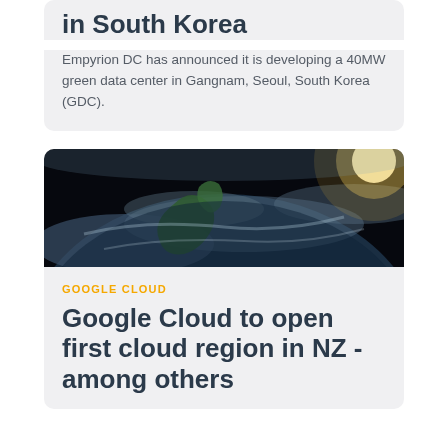in South Korea
Empyrion DC has announced it is developing a 40MW green data center in Gangnam, Seoul, South Korea (GDC).
[Figure (photo): Satellite view of New Zealand from space, with cloud cover and a bright light source in the upper right]
GOOGLE CLOUD
Google Cloud to open first cloud region in NZ - among others